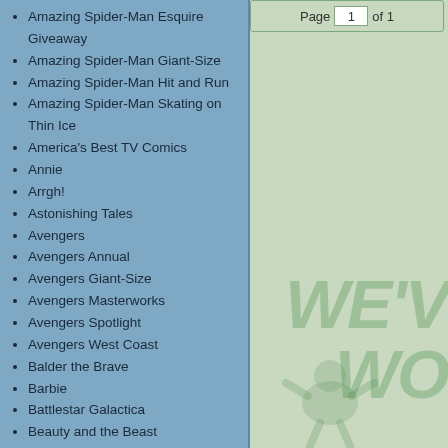Page 1 of 1
Amazing Spider-Man Esquire Giveaway
Amazing Spider-Man Giant-Size
Amazing Spider-Man Hit and Run
Amazing Spider-Man Skating on Thin Ice
America's Best TV Comics
Annie
Arrgh!
Astonishing Tales
Avengers
Avengers Annual
Avengers Giant-Size
Avengers Masterworks
Avengers Spotlight
Avengers West Coast
Balder the Brave
Barbie
Battlestar Galactica
Beauty and the Beast
Beavis and Butt-Head
Beware
Black Goliath
Black Knight (Mini)
Black Panther
Black Panther (Mini)
Black Panther (Vol 2)
Black Panther: Panther's Prey
Blade Runner
Cable
Cable Blood and Metal
[Figure (illustration): Green tinted comic book style illustration with large italic bold text reading WE'VE WOR partially visible, with a cartoon character figure in the background.]